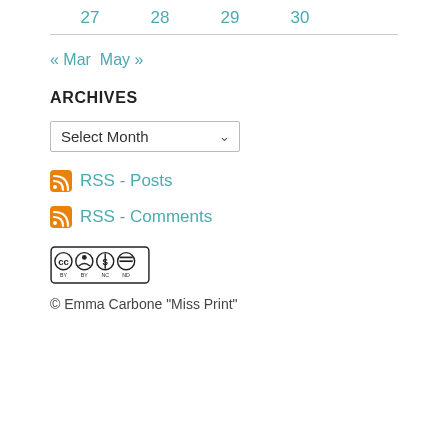27   28   29   30
« Mar   May »
ARCHIVES
Select Month (dropdown)
RSS - Posts
RSS - Comments
[Figure (logo): Creative Commons BY NC ND license badge]
© Emma Carbone "Miss Print"